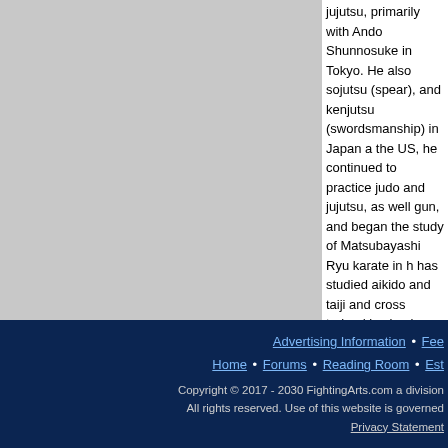jujutsu, primarily with Ando Shunnosuke in Tokyo. He also sojutsu (spear), and kenjutsu (swordsmanship) in Japan a the US, he continued to practice judo and jujutsu, as well gun, and began the study of Matsubayashi Ryu karate in h has studied aikido and taiji and cross trained in ying jow p
To find more articles of interest, search on one of the
karate practitioners, martial artists, self-defense karate giving
Search Go!
Read more articles by George D
Return to Opinion
Return to the Main Reading R
Advertising Information • Fee Home • Forums • Reading Room • Est Copyright © 2017 - 2030 FightingArts.com a division All rights reserved. Use of this website is governed Privacy Statement